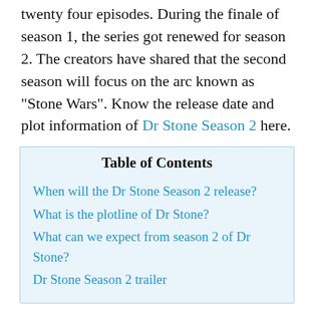twenty four episodes. During the finale of season 1, the series got renewed for season 2. The creators have shared that the second season will focus on the arc known as "Stone Wars". Know the release date and plot information of Dr Stone Season 2 here.
| Table of Contents |
| --- |
| When will the Dr Stone Season 2 release? |
| What is the plotline of Dr Stone? |
| What can we expect from season 2 of Dr Stone? |
| Dr Stone Season 2 trailer |
When will the Dr Stone Season 2 release?
The official title of season 2 is Dr STONE: Stone Wars. It will release on Crunchyroll on Thursday, January 14th, 2021. According to the sources, season 2 of the